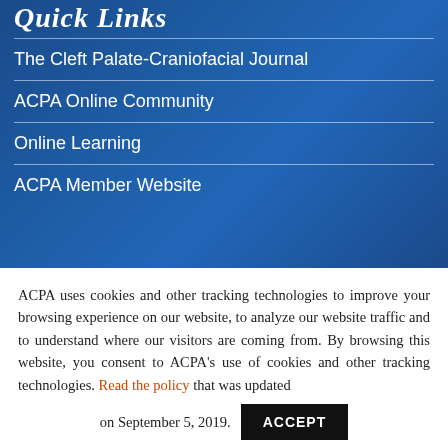Quick Links
The Cleft Palate-Craniofacial Journal
ACPA Online Community
Online Learning
ACPA Member Website
ACPA uses cookies and other tracking technologies to improve your browsing experience on our website, to analyze our website traffic and to understand where our visitors are coming from. By browsing this website, you consent to ACPA’s use of cookies and other tracking technologies. Read the policy that was updated on September 5, 2019.
ACCEPT